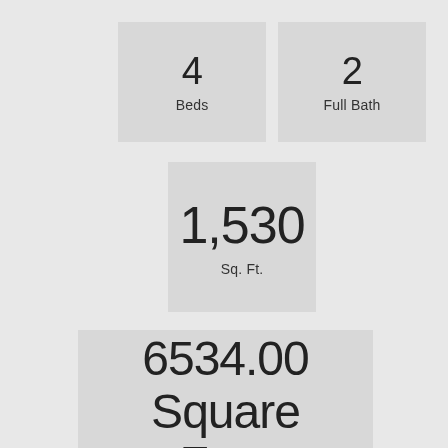4
Beds
2
Full Bath
1,530
Sq. Ft.
6534.00 Square Feet
Lot